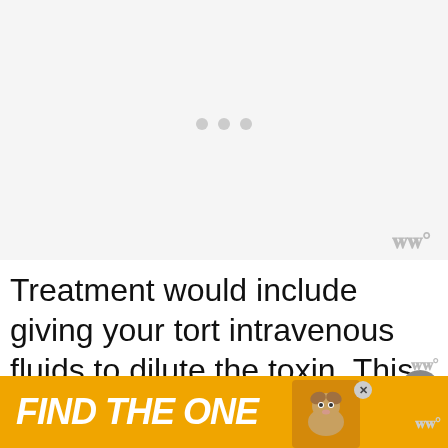[Figure (other): Image placeholder area with loading dots, light gray background, and watermark logo in bottom right corner]
Treatment would include giving your tort intravenous fluids to dilute the toxin. This is the care often given to this reptile who needs to clear out toxic substance from their system
[Figure (other): Advertisement banner with yellow/gold background, 'FIND THE ONE' text in white italic bold, dog photo, close X button, and watermark logo]